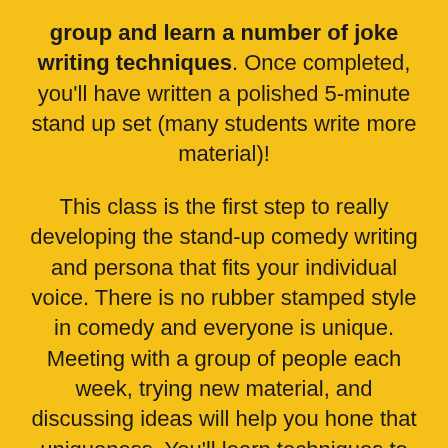group and learn a number of joke writing techniques. Once completed, you'll have written a polished 5-minute stand up set (many students write more material)! This class is the first step to really developing the stand-up comedy writing and persona that fits your individual voice. There is no rubber stamped style in comedy and everyone is unique. Meeting with a group of people each week, trying new material, and discussing ideas will help you hone that uniqueness. You'll learn techniques to kick start your writing process and